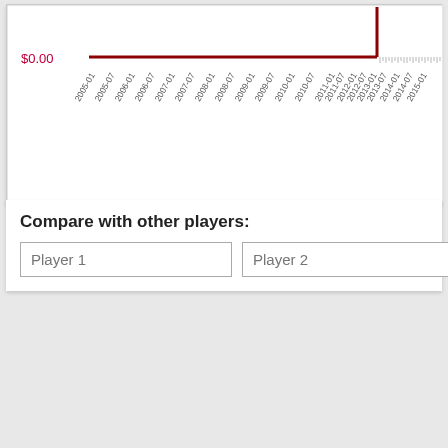[Figure (line-chart): Bottom portion of a line chart showing earnings over time from 2005-01 to 2015-01. A dark red horizontal line sits at the $0.00 level across nearly the full chart width, with a vertical drop near 2013-07. X-axis labels are rotated dates from 2005-01 to 2015-01.]
Compare with other players:
Player 1
Player 2